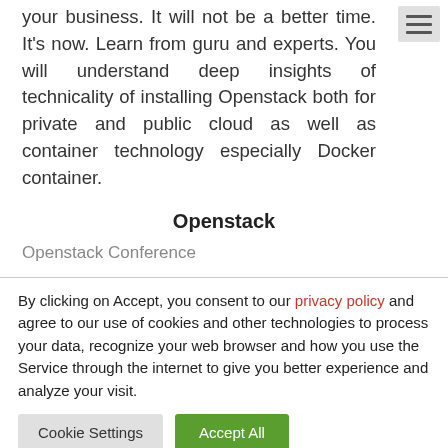your business. It will not be a better time. It's now. Learn from guru and experts. You will understand deep insights of technicality of installing Openstack both for private and public cloud as well as container technology especially Docker container.
Openstack
Openstack Conference
By clicking on Accept, you consent to our privacy policy and agree to our use of cookies and other technologies to process your data, recognize your web browser and how you use the Service through the internet to give you better experience and analyze your visit.